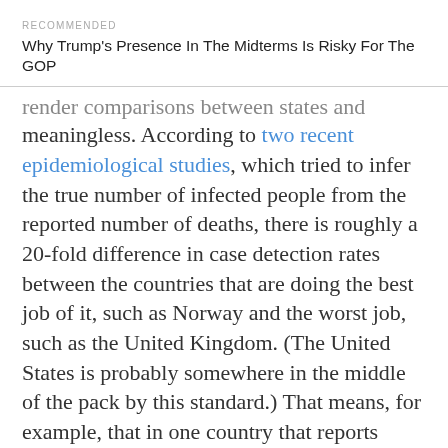RECOMMENDED
Why Trump's Presence In The Midterms Is Risky For The GOP
render comparisons between states and countries meaningless. According to two recent epidemiological studies, which tried to infer the true number of infected people from the reported number of deaths, there is roughly a 20-fold difference in case detection rates between the countries that are doing the best job of it, such as Norway and the worst job, such as the United Kingdom. (The United States is probably somewhere in the middle of the pack by this standard.) That means, for example, that in one country that reports 1,000 COVID-19 cases, there could actually be 5,000 infected people, and in another country that reports 1,000 cases, there might be 100,000!
There is also a lot of uncertainty about the true